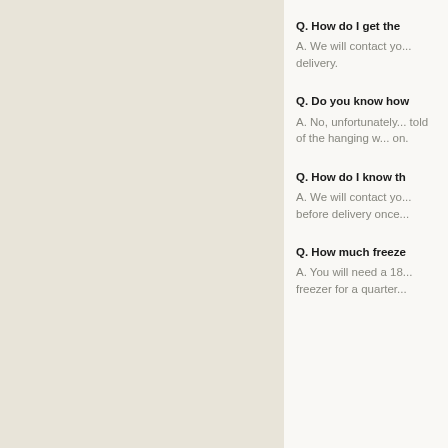Q. How do I get the...
A. We will contact yo... delivery.
Q. Do you know how...
A. No, unfortunately... told of the hanging w... on.
Q. How do I know th...
A. We will contact yo... before delivery once...
Q. How much freeze...
A. You will need a 18... freezer for a quarter...